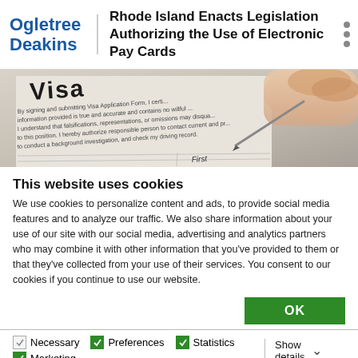Rhode Island Enacts Legislation Authorizing the Use of Electronic Pay Cards
[Figure (photo): Close-up photo of a hand holding a pen over a Visa application form with printed text and form fields]
This website uses cookies
We use cookies to personalize content and ads, to provide social media features and to analyze our traffic. We also share information about your use of our site with our social media, advertising and analytics partners who may combine it with other information that you've provided to them or that they've collected from your use of their services. You consent to our cookies if you continue to use our website.